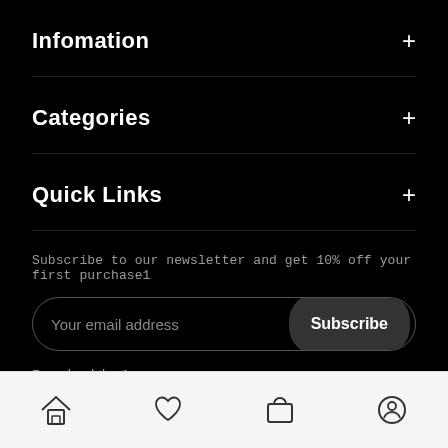Infomation
Categories
Quick Links
Subscribe to our newsletter and get 10% off your first purchase1
Your email address
Subscribe
Download the App
[Figure (screenshot): Available on the App Store badge]
[Figure (screenshot): GET IT ON Google Play badge]
[Figure (screenshot): Bottom navigation bar with home, heart, bag, and profile icons]